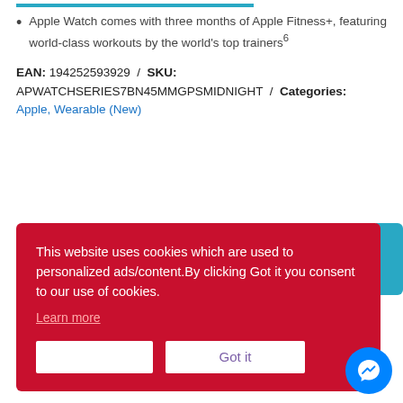Apple Watch comes with three months of Apple Fitness+, featuring world-class workouts by the world's top trainers6
EAN: 194252593929 / SKU: APWATCHSERIES7BN45MMGPSMIDNIGHT / Categories: Apple, Wearable (New)
This website uses cookies which are used to personalized ads/content.By clicking Got it you consent to our use of cookies. Learn more